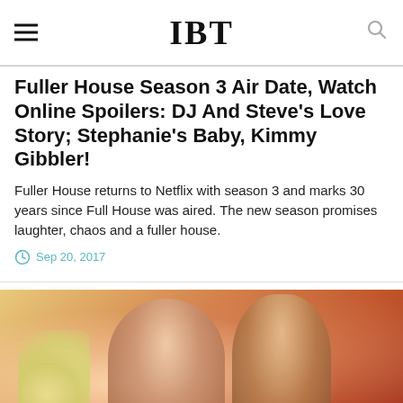IBT
Fuller House Season 3 Air Date, Watch Online Spoilers: DJ And Steve's Love Story; Stephanie's Baby, Kimmy Gibbler!
Fuller House returns to Netflix with season 3 and marks 30 years since Full House was aired. The new season promises laughter, chaos and a fuller house.
Sep 20, 2017
[Figure (photo): Two figures in traditional Asian costume against an orange-red background with flowers on the left side.]